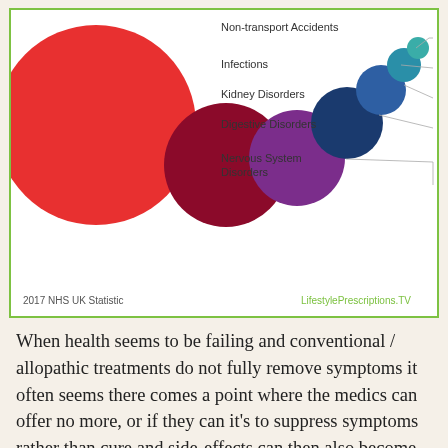[Figure (bubble-chart): Bubble chart showing relative sizes of health conditions. Large red bubble on left, smaller dark red, purple, dark blue, medium blue, teal, and small teal-green bubbles arranged in a curve from large to small. Legend on right side lists conditions from top to bottom.]
2017 NHS UK Statistic                    LifestylePrescriptions.TV
When health seems to be failing and conventional / allopathic treatments do not fully remove symptoms it often seems there comes a point where the medics can offer no more, or if they can it's to suppress symptoms rather than cure and side-effects can then also become problematic. It is by this point essential for self-care to be the order of the day...every day. Self-care can be empowering and can take us from victim mode and elevate us potentially to experiences and situations that can be highly